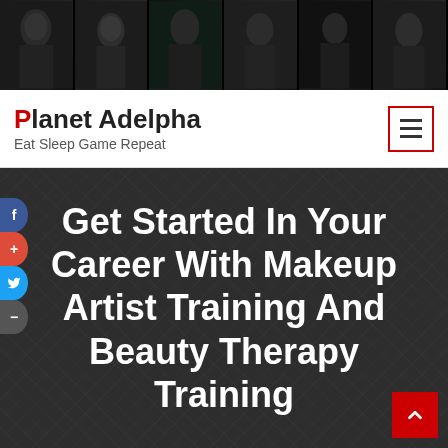[Figure (illustration): Banner with multiple dark video game character portrait panels side by side]
Planet Adelpha — Eat Sleep Game Repeat
Get Started In Your Career With Makeup Artist Training And Beauty Therapy Training